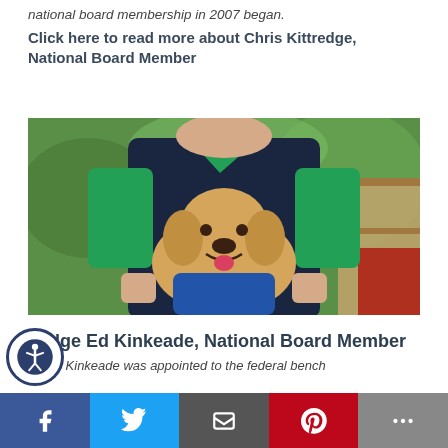national board membership in 2007 began.
Click here to read more about Chris Kittredge, National Board Member
[Figure (photo): Person wearing a green polo shirt and dark navy vest, holding a golden Labrador retriever wearing a blue service vest. Background shows colorful green painted murals.]
Judge Ed Kinkeade, National Board Member
he Ed Kinkeade was appointed to the federal bench